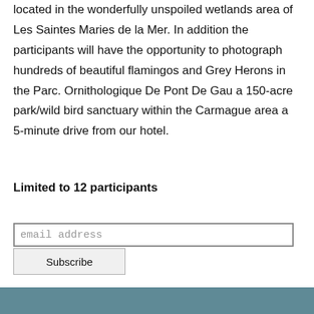located in the wonderfully unspoiled wetlands area of Les Saintes Maries de la Mer. In addition the participants will have the opportunity to photograph hundreds of beautiful flamingos and Grey Herons in the Parc. Ornithologique De Pont De Gau a 150-acre park/wild bird sanctuary within the Carmague area a 5-minute drive from our hotel.
Limited to 12 participants
[Figure (other): Email subscription form with an email address input field and a Subscribe button]